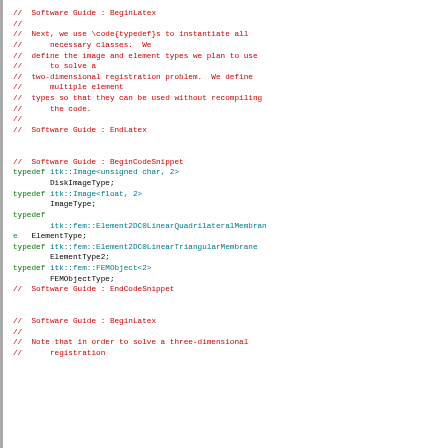// Software Guide : BeginLatex
//
// Next, we use \code{typedef}s to instantiate all necessary classes.  We
// define the image and element types we plan to use to solve a
// two-dimensional registration problem.  We define multiple element
// types so that they can be used without recompiling the code.
//
// Software Guide : EndLatex

// Software Guide : BeginCodeSnippet
typedef itk::Image<unsigned char, 2>
        DiskImageType;
typedef itk::Image<float, 2>
        ImageType;
typedef
        itk::fem::Element2DC0LinearQuadrilateralMembrane  ElementType;
typedef itk::fem::Element2DC0LinearTriangularMembrane
        ElementType2;
typedef itk::fem::FEMObject<2>
        FEMObjectType;
// Software Guide : EndCodeSnippet

// Software Guide : BeginLatex
//
// Note that in order to solve a three-dimensional
//     registration